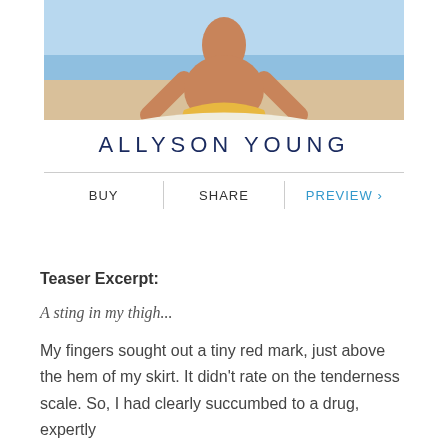[Figure (photo): Book cover showing a woman with long hair sitting on a beach from behind, wearing a yellow wrap around her waist, with ocean and sand visible. Author name ALLYSON YOUNG displayed below the image in dark navy large spaced letters.]
BUY | SHARE | PREVIEW ›
Teaser Excerpt:
A sting in my thigh...
My fingers sought out a tiny red mark, just above the hem of my skirt. It didn't rate on the tenderness scale. So, I had clearly succumbed to a drug, expertly